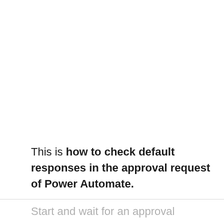This is how to check default responses in the approval request of Power Automate.
Start and wait for an approval